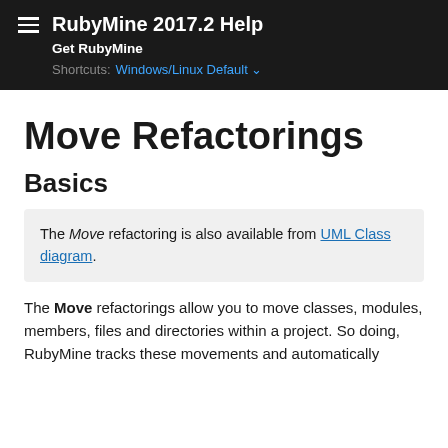RubyMine 2017.2 Help
Get RubyMine
Shortcuts: Windows/Linux Default
Move Refactorings
Basics
The Move refactoring is also available from UML Class diagram.
The Move refactorings allow you to move classes, modules, members, files and directories within a project. So doing, RubyMine tracks these movements and automatically